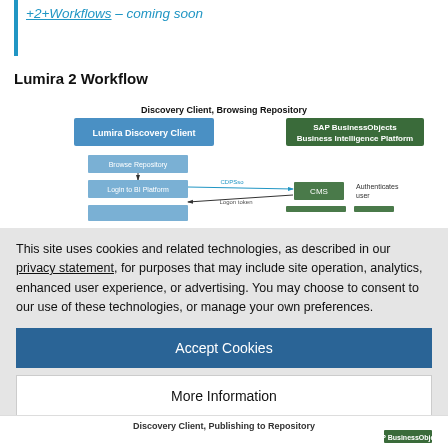+2+Workflows – coming soon
Lumira 2 Workflow
[Figure (flowchart): Lumira 2 Workflow diagram showing Discovery Client and SAP BusinessObjects Business Intelligence Platform interaction with Browse Repository, Login to BI Platform, CMS, and authentication steps with arrows.]
This site uses cookies and related technologies, as described in our privacy statement, for purposes that may include site operation, analytics, enhanced user experience, or advertising. You may choose to consent to our use of these technologies, or manage your own preferences.
Accept Cookies
More Information
Privacy Policy | Powered by:  TrustArc
Discovery Client, Publishing to Repository